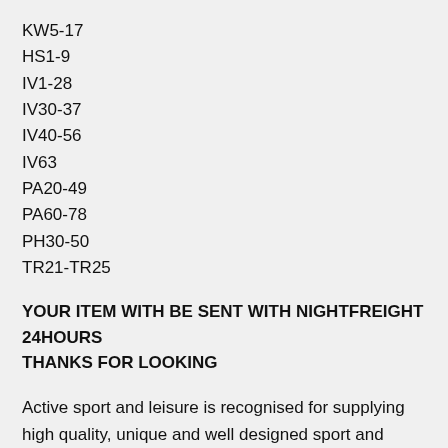KW5-17
HS1-9
IV1-28
IV30-37
IV40-56
IV63
PA20-49
PA60-78
PH30-50
TR21-TR25
YOUR ITEM WITH BE SENT WITH NIGHTFREIGHT 24HOURS
THANKS FOR LOOKING
Active sport and leisure is recognised for supplying high quality, unique and well designed sport and leisure products at great prices. Our passion for sport and leisure products is complemented by our passion for getting the right product at